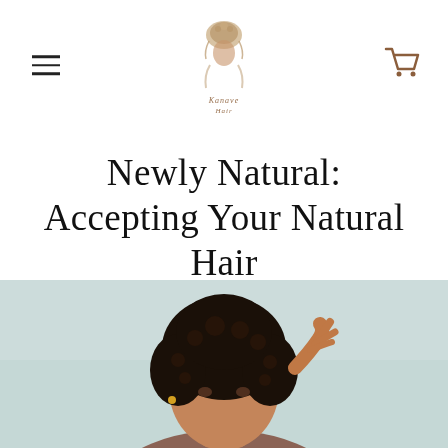Kanave Hair [logo with decorative hair illustration]
Newly Natural: Accepting Your Natural Hair
July 6, 2020
[Figure (photo): Close-up photo of a woman with natural curly hair, hand raised to her hair, against a light teal/mint background]